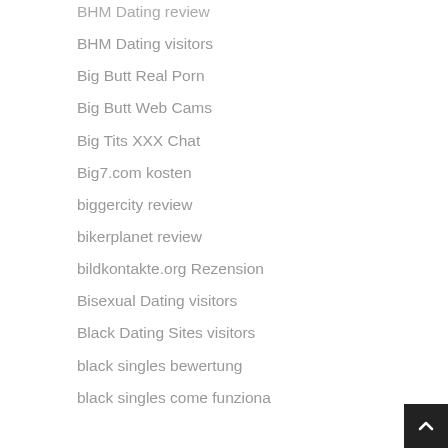BHM Dating review
BHM Dating visitors
Big Butt Real Porn
Big Butt Web Cams
Big Tits XXX Chat
Big7.com kosten
biggercity review
bikerplanet review
bildkontakte.org Rezension
Bisexual Dating visitors
Black Dating Sites visitors
black singles bewertung
black singles come funziona